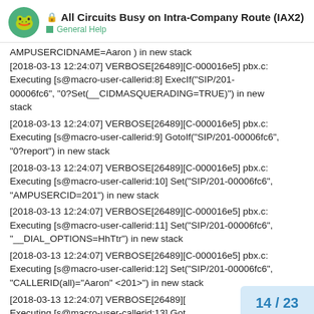All Circuits Busy on Intra-Company Route (IAX2) — General Help
AMPUSERCIDNAME=Aaron ) in new stack
[2018-03-13 12:24:07] VERBOSE[26489][C-000016e5] pbx.c: Executing [s@macro-user-callerid:8] ExecIf("SIP/201-00006fc6", "0?Set(__CIDMASQUERADING=TRUE)") in new stack
[2018-03-13 12:24:07] VERBOSE[26489][C-000016e5] pbx.c: Executing [s@macro-user-callerid:9] GotoIf("SIP/201-00006fc6", "0?report") in new stack
[2018-03-13 12:24:07] VERBOSE[26489][C-000016e5] pbx.c: Executing [s@macro-user-callerid:10] Set("SIP/201-00006fc6", "AMPUSERCID=201") in new stack
[2018-03-13 12:24:07] VERBOSE[26489][C-000016e5] pbx.c: Executing [s@macro-user-callerid:11] Set("SIP/201-00006fc6", "__DIAL_OPTIONS=HhTtr") in new stack
[2018-03-13 12:24:07] VERBOSE[26489][C-000016e5] pbx.c: Executing [s@macro-user-callerid:12] Set("SIP/201-00006fc6", "CALLERID(all)="Aaron" <201>") in new stack
[2018-03-13 12:24:07] VERBOSE[26489][ Executing [s@macro-user-callerid:13] Got